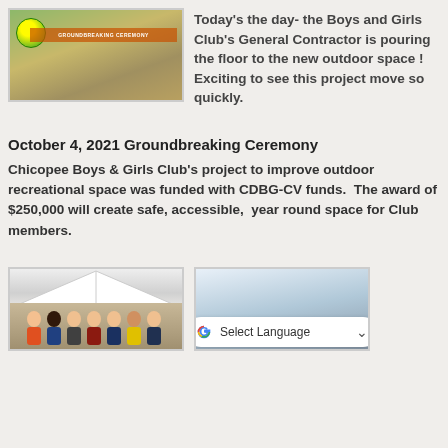[Figure (photo): Outdoor construction site with a green and yellow ball, orange barrier, sandy ground, and what appears to be groundbreaking equipment or signage.]
Today's the day- the Boys and Girls Club's General Contractor is pouring the floor to the new outdoor space ! Exciting to see this project move so quickly.
October 4, 2021 Groundbreaking Ceremony
Chicopee Boys & Girls Club's project to improve outdoor recreational space was funded with CDBG-CV funds.  The award of $250,000 will create safe, accessible,  year round space for Club members.
[Figure (photo): Group of people standing under a tent at the groundbreaking ceremony, including several men in suits and high-visibility vests.]
[Figure (photo): Photo at the groundbreaking ceremony with a GP sign visible. Also shows a Google Translate 'Select Language' overlay button.]